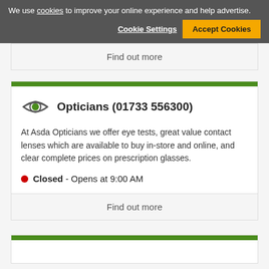We use cookies to improve your online experience and help advertise.
Cookie Settings
Accept Cookies
Find out more
Opticians (01733 556300)
At Asda Opticians we offer eye tests, great value contact lenses which are available to buy in-store and online, and clear complete prices on prescription glasses.
Closed - Opens at 9:00 AM
Find out more